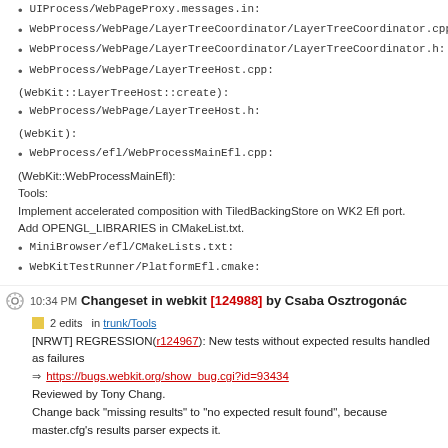UIProcess/WebPageProxy.messages.in:
WebProcess/WebPage/LayerTreeCoordinator/LayerTreeCoordinator.cpp:
WebProcess/WebPage/LayerTreeCoordinator/LayerTreeCoordinator.h:
WebProcess/WebPage/LayerTreeHost.cpp:
(WebKit::LayerTreeHost::create):
WebProcess/WebPage/LayerTreeHost.h:
(WebKit):
WebProcess/efl/WebProcessMainEfl.cpp:
(WebKit::WebProcessMainEfl):
Tools:
Implement accelerated composition with TiledBackingStore on WK2 Efl port.
Add OPENGL_LIBRARIES in CMakeList.txt.
MiniBrowser/efl/CMakeLists.txt:
WebKitTestRunner/PlatformEfl.cmake:
10:34 PM Changeset in webkit [124988] by Csaba Osztrogonác
2 edits   in trunk/Tools
[NRWT] REGRESSION(r124967): New tests without expected results handled as failures
⇒ https://bugs.webkit.org/show_bug.cgi?id=93434
Reviewed by Tony Chang.
Change back "missing results" to "no expected result found", because master.cfg's results parser expects it.